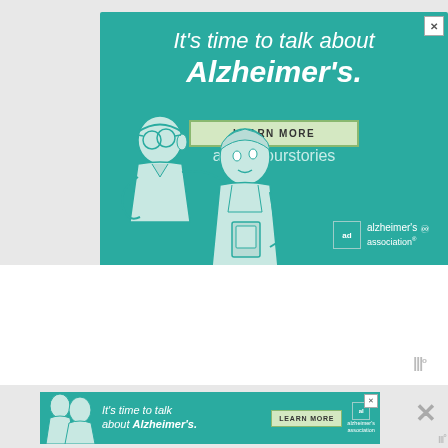[Figure (infographic): Alzheimer's Association advertisement banner. Teal background with white text 'It's time to talk about Alzheimer's.' A LEARN MORE button and URL alz.org/ourstories. Illustrated drawing of two elderly people (caregiver and patient). Alzheimer's Association logo in bottom right.]
[Figure (infographic): Smaller version of Alzheimer's Association advertisement at bottom of page. Same teal background, text 'It's time to talk about Alzheimer's.' with LEARN MORE button and Alzheimer's Association logo. Accompanied by a close X button and Moat measurement marker.]